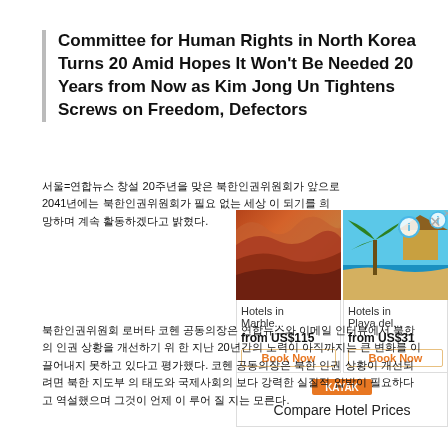Committee for Human Rights in North Korea Turns 20 Amid Hopes It Won't Be Needed 20 Years from Now as Kim Jong Un Tightens Screws on Freedom, Defectors
서울=연합뉴스 창설 20주년을 맞은 북한인권위원회가 앞으로 2041년에는 북한인권위원회가 필요 없는 세상 이 되기를 희망하며 계속 활동하겠다고 밝혔다.
[Figure (other): Close/X button icon, dark grey square with X]
[Figure (other): Advertisement: Hotels in Marble... from US$115 Book Now / Hotels in Playa del... from US$31 Book Now, Kayak Compare Hotel Prices]
북한인권위원회 로버타 코헨 공동의장은 연합뉴스와 이메일 인터뷰에서 북한의 인권 상황을 개선하기 위 한 지난 20년간의 노력이 아직까지는 큰 변화를 이끌어내지 못하고 있다고 평가했다. 코헨 공동의장은 북한 인권 상황이 개선되려면 북한 지도부 의 태도와 국제사회의 보다 강력한 실질적 압박이 필요하다고 역설했으며 그것이 언제 이 루어 질 지는 모른다.